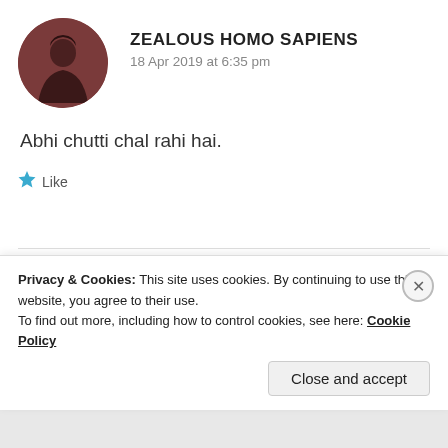[Figure (illustration): Circular avatar with a dark reddish-brown background showing a person silhouette with dark hair]
ZEALOUS HOMO SAPIENS
18 Apr 2019 at 6:35 pm
Abhi chutti chal rahi hai.
★ Like
[Figure (illustration): Circular avatar with a woman in traditional colorful dress with flowers]
□□□□ □□□□
18 Apr 2019 at 6:36 pm
Privacy & Cookies: This site uses cookies. By continuing to use this website, you agree to their use.
To find out more, including how to control cookies, see here: Cookie Policy
Close and accept